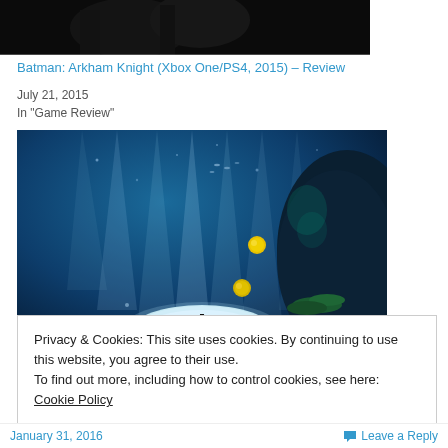[Figure (photo): Partial view of Batman character image (top portion cut off)]
Batman: Arkham Knight (Xbox One/PS4, 2015) – Review
July 21, 2015
In "Game Review"
[Figure (photo): Underwater scene with blue light rays, a small figure standing on a glowing mound, yellow orbs, green vegetation, and large dark rock formation]
Privacy & Cookies: This site uses cookies. By continuing to use this website, you agree to their use.
To find out more, including how to control cookies, see here: Cookie Policy
January 31, 2016
Leave a Reply